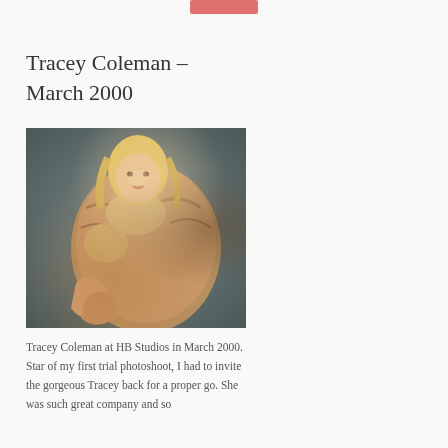[Figure (other): Small pink/red button or tag element at top center of page]
Tracey Coleman – March 2000
[Figure (photo): Woman with blonde hair wearing a fur coat, seated pose, photographed at HB Studios in March 2000]
Tracey Coleman at HB Studios in March 2000. Star of my first trial photoshoot, I had to invite the gorgeous Tracey back for a proper go. She was such great company and so